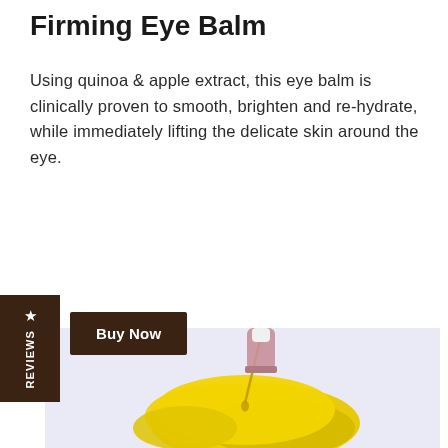Firming Eye Balm
Using quinoa & apple extract, this eye balm is clinically proven to smooth, brighten and re-hydrate, while immediately lifting the delicate skin around the eye.
★ REVIEWS
Buy Now
[Figure (photo): A dropper bottle dispensing a golden yellow liquid oil substance onto a light lavender/purple background, with a rose-gold and white dropper cap visible above the pooled yellow liquid.]